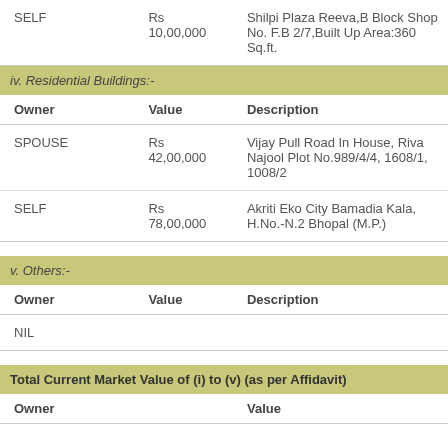| SELF | Rs 10,00,000 | Shilpi Plaza Reeva,B Block Shop No. F.B 2/7,Built Up Area:360 Sq.ft. |
iv. Residential Buildings:-
| Owner | Value | Description |
| --- | --- | --- |
| SPOUSE | Rs 42,00,000 | Vijay Pull Road In House, Riva Najool Plot No.989/4/4, 1608/1, 1008/2 |
| SELF | Rs 78,00,000 | Akriti Eko City Bamadia Kala, H.No.-N.2 Bhopal (M.P.) |
v. Others:-
| Owner | Value | Description |
| --- | --- | --- |
| NIL |  |  |
Total Current Market Value of (i) to (v) (as per Affidavit)
| Owner | Value |
| --- | --- |